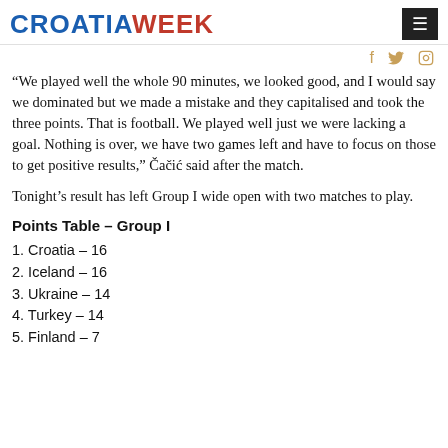CROATIAWEEK
“We played well the whole 90 minutes, we looked good, and I would say we dominated but we made a mistake and they capitalised and took the three points. That is football. We played well just we were lacking a goal. Nothing is over, we have two games left and have to focus on those to get positive results,” Čačić said after the match.
Tonight’s result has left Group I wide open with two matches to play.
Points Table – Group I
1. Croatia – 16
2. Iceland – 16
3. Ukraine – 14
4. Turkey – 14
5. Finland – 7